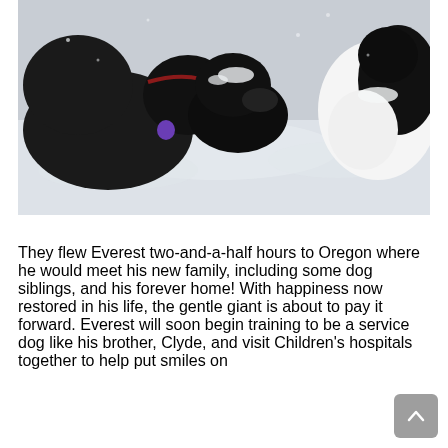[Figure (photo): Three dogs playing in the snow. A large dark dog on the left with a purple tag, a smaller dark dog in the middle, and a black and white dog on the right. All are sniffing/interacting in a snowy outdoor setting.]
They flew Everest two-and-a-half hours to Oregon where he would meet his new family, including some dog siblings, and his forever home! With happiness now restored in his life, the gentle giant is about to pay it forward. Everest will soon begin training to be a service dog like his brother, Clyde, and visit Children's hospitals together to help put smiles on